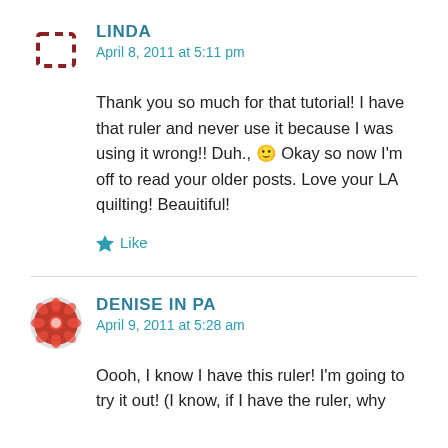LINDA
April 8, 2011 at 5:11 pm
Thank you so much for that tutorial! I have that ruler and never use it because I was using it wrong!! Duh., 🙂 Okay so now I'm off to read your older posts. Love your LA quilting! Beauitiful!
Like
DENISE IN PA
April 9, 2011 at 5:28 am
Oooh, I know I have this ruler! I'm going to try it out! (I know, if I have the ruler, why